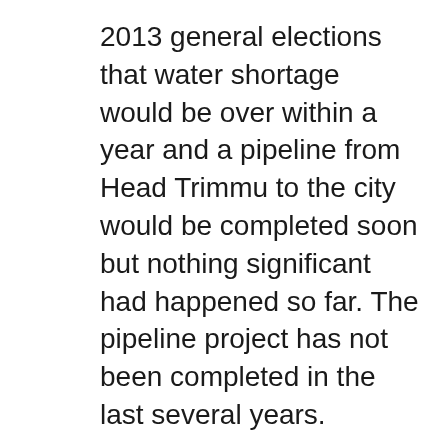2013 general elections that water shortage would be over within a year and a pipeline from Head Trimmu to the city would be completed soon but nothing significant had happened so far. The pipeline project has not been completed in the last several years.
He said the tail-end villages of the district were facing water shortage and the crops were being destroyed resulting in great financial loss to the growers for which the irrigation department was responsible. He demanded action against the department functionaries for their